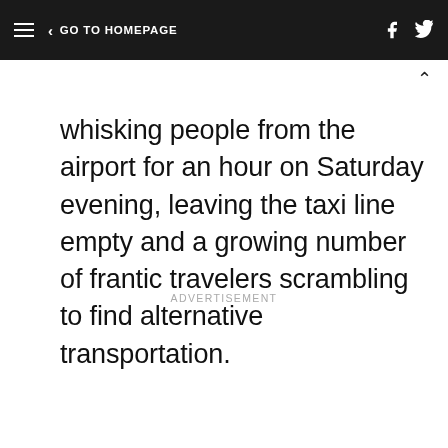GO TO HOMEPAGE
whisking people from the airport for an hour on Saturday evening, leaving the taxi line empty and a growing number of frantic travelers scrambling to find alternative transportation.
ADVERTISEMENT